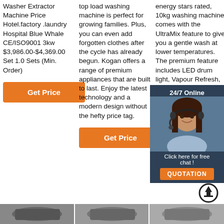Washer Extractor Machine Price Hotel.factory .laundry Hospital Blue Whale CE/ISO9001 3kw $3,986.00-$4,369.00 Set 1.0 Sets (Min. Order)
Get Price
top load washing machine is perfect for growing families. Plus, you can even add forgotten clothes after the cycle has already begun. Kogan offers a range of premium appliances that are built to last. Enjoy the latest technology and a modern design without the hefty price tag.
Get Price
energy stars rated, 10kg washing machine comes with the UltraMix feature to give you a gentle wash at lower temperatures. The premium feature includes LED drum light, Vapour Refresh, Time Manager, EcoInverter motor and Woolmark accreditation, UltraMix technology. Vapour Refresh. Time Manager.
[Figure (infographic): 24/7 Online chat popup with woman wearing headset, dark blue background, orange QUOTATION button]
Get Price
[Figure (photo): Bottom strip with three product thumbnail images of washing machines]